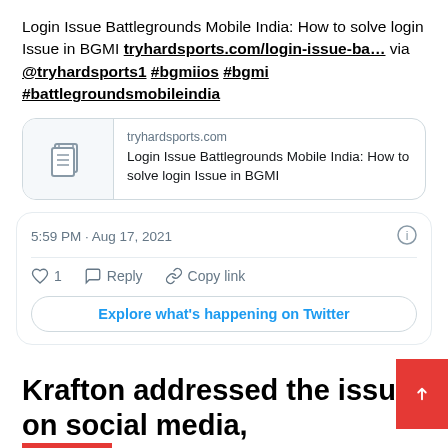Login Issue Battlegrounds Mobile India: How to solve login Issue in BGMI tryhardsports.com/login-issue-ba… via @tryhardsports1 #bgmiios #bgmi #battlegroundsmobileindia
[Figure (screenshot): Link preview card showing tryhardsports.com with article title: Login Issue Battlegrounds Mobile India: How to solve login Issue in BGMI]
5:59 PM · Aug 17, 2021
♡ 1   Reply   Copy link
Explore what's happening on Twitter
Krafton addressed the issue on social media,